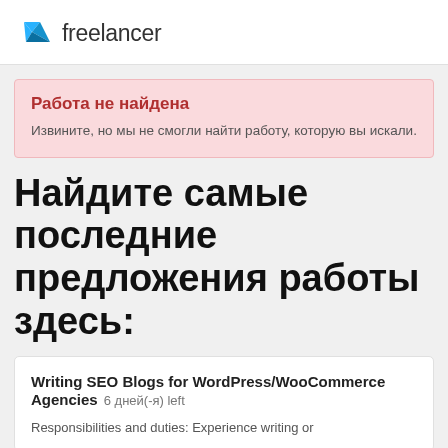freelancer
Работа не найдена
Извините, но мы не смогли найти работу, которую вы искали.
Найдите самые последние предложения работы здесь:
Writing SEO Blogs for WordPress/WooCommerce Agencies  6 дней(-я) left
Responsibilities and duties: Experience writing or